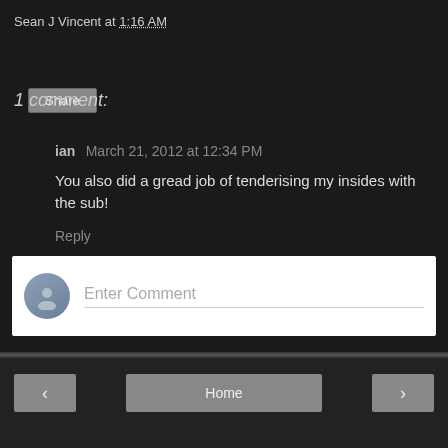Sean J Vincent at 1:16 AM
Share
1 comment:
ian  March 21, 2012 at 12:34 PM
You also did a gread job of tenderising my insides with the sub!
Reply
[Figure (other): Comment entry form with avatar placeholder and Enter Comment input field]
< Home > View web version